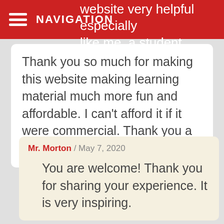NAVIGATION
website very helpful especially like me, a student.
Thank you so much for making this website making learning material much more fun and affordable. I can't afford it if it were commercial. Thank you a million
Mr. Morton / May 7, 2020
You are welcome! Thank you for sharing your experience. It is very inspiring.